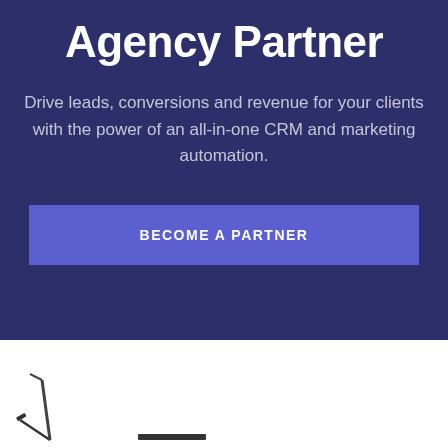Agency Partner
Drive leads, conversions and revenue for your clients with the power of an all-in-one CRM and marketing automation.
BECOME A PARTNER
[Figure (illustration): Bottom white section with a pencil/pen icon on the lower left and a small horizontal bar element, partially visible at the bottom of the page.]